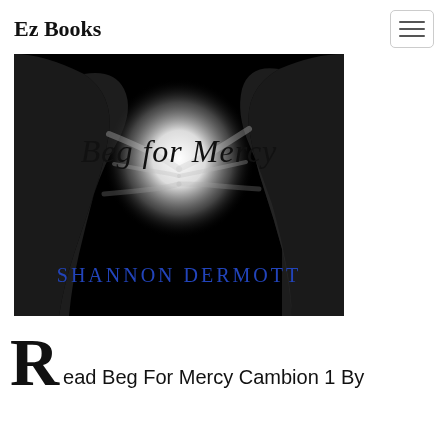Ez Books
[Figure (illustration): Black and white dramatic book cover image showing two shadowy figures facing each other with a bright white glow between them. Cursive text reads 'Beg for Mercy' in the center, and 'Shannon Dermott' in blue serif text at the bottom.]
ead Beg For Mercy Cambion 1 By